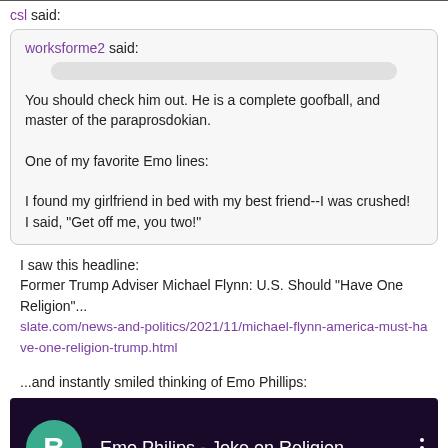worksforme2 and amazingk like this
csl said:
worksforme2 said:
[bar]
You should check him out. He is a complete goofball, and master of the paraprosdokian.

One of my favorite Emo lines:

I found my girlfriend in bed with my best friend--I was crushed!
I said, "Get off me, you two!"
I saw this headline:
Former Trump Adviser Michael Flynn: U.S. Should “Have One Religion”...
slate.com/news-and-politics/2021/11/michael-flynn-america-must-have-one-religion-trump.html
...and instantly smiled thinking of Emo Phillips:
[Figure (screenshot): YouTube video thumbnail for 'Emo Philips - Joke on Religion' with a green avatar circle showing 'B' and three-dot menu icon on dark background]